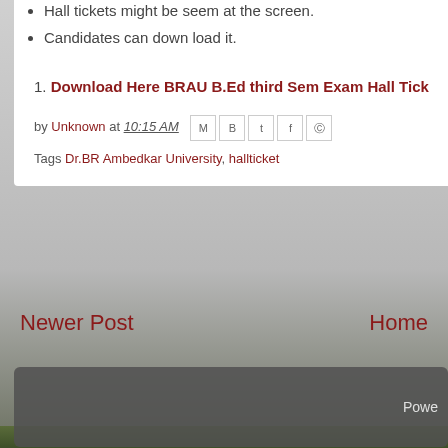Hall tickets might be seem at the screen.
Candidates can down load it.
1. Download Here BRAU B.Ed third Sem Exam Hall Tick...
by Unknown at 10:15 AM
Tags Dr.BR Ambedkar University, hallticket
Newer Post
Home
Powe...